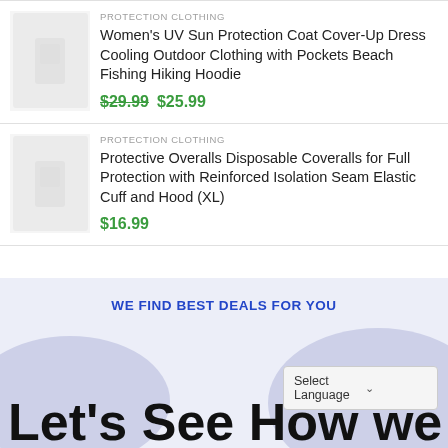PROTECTION CLOTHING
Women's UV Sun Protection Coat Cover-Up Dress Cooling Outdoor Clothing with Pockets Beach Fishing Hiking Hoodie
$29.99 $25.99
PROTECTION CLOTHING
Protective Overalls Disposable Coveralls for Full Protection with Reinforced Isolation Seam Elastic Cuff and Hood (XL)
$16.99
WE FIND BEST DEALS FOR YOU
Let's See How we
Select Language